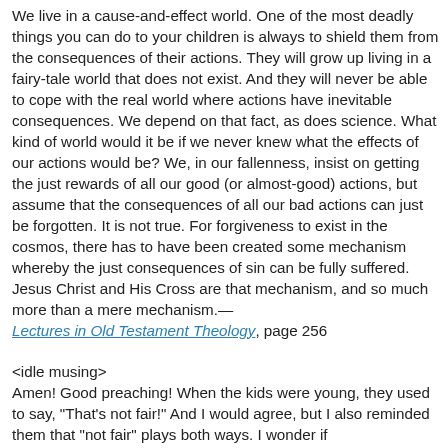We live in a cause-and-effect world. One of the most deadly things you can do to your children is always to shield them from the consequences of their actions. They will grow up living in a fairy-tale world that does not exist. And they will never be able to cope with the real world where actions have inevitable consequences. We depend on that fact, as does science. What kind of world would it be if we never knew what the effects of our actions would be? We, in our fallenness, insist on getting the just rewards of all our good (or almost-good) actions, but assume that the consequences of all our bad actions can just be forgotten. It is not true. For forgiveness to exist in the cosmos, there has to have been created some mechanism whereby the just consequences of sin can be fully suffered. Jesus Christ and His Cross are that mechanism, and so much more than a mere mechanism.— Lectures in Old Testament Theology, page 256
<idle musing>
Amen! Good preaching! When the kids were young, they used to say, "That's not fair!" And I would agree, but I also reminded them that "not fair" plays both ways. I wonder if